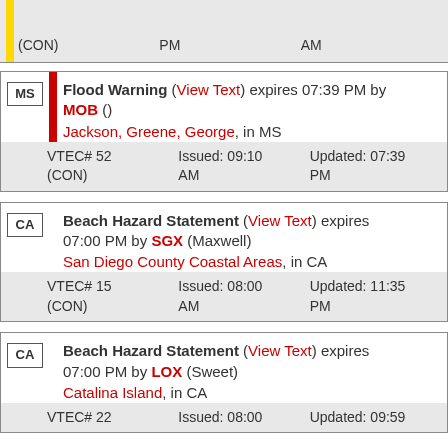| (CON) | PM | AM |
| MS | Flood Warning (View Text) expires 07:39 PM by MOB () | Jackson, Greene, George, in MS | VTEC# 52 (CON) | Issued: 09:10 AM | Updated: 07:39 PM |
| CA | Beach Hazard Statement (View Text) expires 07:00 PM by SGX (Maxwell) | San Diego County Coastal Areas, in CA | VTEC# 15 (CON) | Issued: 08:00 AM | Updated: 11:35 PM |
| CA | Beach Hazard Statement (View Text) expires 07:00 PM by LOX (Sweet) | Catalina Island, in CA | VTEC# 22 | Issued: 08:00 | Updated: 09:59 |